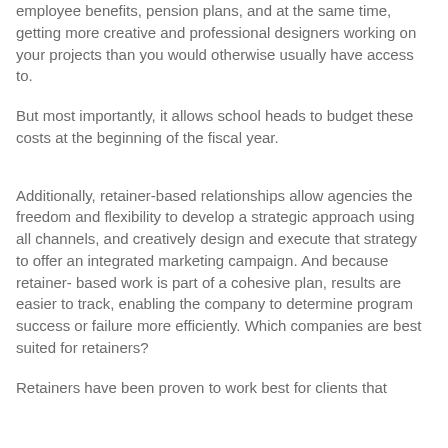employee benefits, pension plans, and at the same time, getting more creative and professional designers working on your projects than you would otherwise usually have access to.
But most importantly, it allows school heads to budget these costs at the beginning of the fiscal year.
Additionally, retainer-based relationships allow agencies the freedom and flexibility to develop a strategic approach using all channels, and creatively design and execute that strategy to offer an integrated marketing campaign. And because retainer- based work is part of a cohesive plan, results are easier to track, enabling the company to determine program success or failure more efficiently. Which companies are best suited for retainers?
Retainers have been proven to work best for clients that...